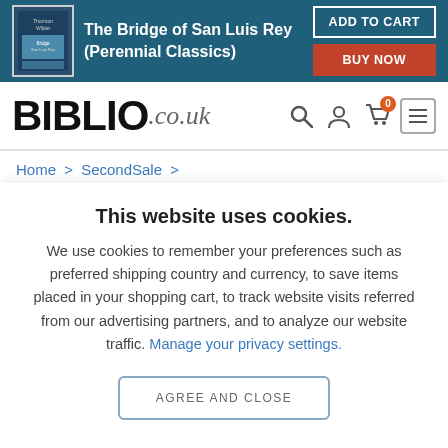[Figure (screenshot): Top banner with book cover image for 'The Bridge of San Luis Rey (Perennial Classics)' on teal/dark blue background with ADD TO CART and BUY NOW buttons]
The Bridge of San Luis Rey (Perennial Classics)
BIBLIO.co.uk
Home > SecondSale > The Bridge of San Luis Rey (Perennial ...
This website uses cookies.
We use cookies to remember your preferences such as preferred shipping country and currency, to save items placed in your shopping cart, to track website visits referred from our advertising partners, and to analyze our website traffic. Manage your privacy settings.
AGREE AND CLOSE